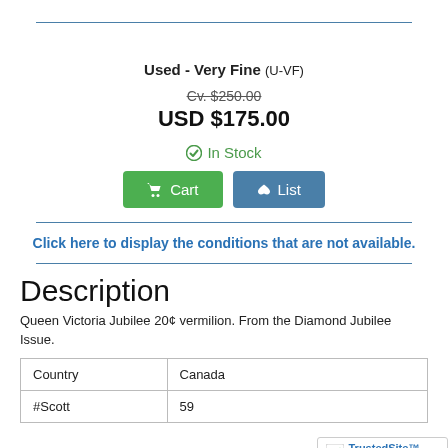Used - Very Fine (U-VF)
Cv. $250.00
USD $175.00
In Stock
Cart
List
Click here to display the conditions that are not available.
Description
Queen Victoria Jubilee 20¢ vermilion. From the Diamond Jubilee Issue.
| Country | Canada |
| --- | --- |
| #Scott | 59 |